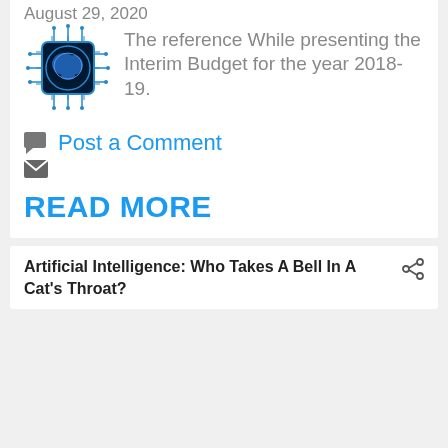August 29, 2020
[Figure (logo): AI brain circuit logo — a blue circuit-board brain graphic with antenna/chip connections]
The reference While presenting the Interim Budget for the year 2018-19.
Post a Comment
READ MORE
Artificial Intelligence: Who Takes A Bell In A Cat's Throat?